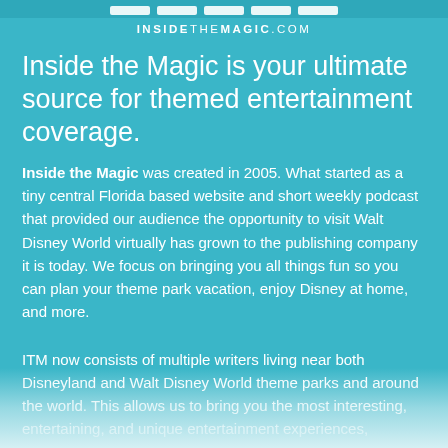INSIDETHEMAGIC.COM
Inside the Magic is your ultimate source for themed entertainment coverage.
Inside the Magic was created in 2005. What started as a tiny central Florida based website and short weekly podcast that provided our audience the opportunity to visit Walt Disney World virtually has grown to the publishing company it is today. We focus on bringing you all things fun so you can plan your theme park vacation, enjoy Disney at home, and more.
ITM now consists of multiple writers living near both Disneyland and Walt Disney World theme parks and around the world. This allows us to bring you the most interesting, entertaining, and unique entertainment experiences, covering theme parks, movies, TV, rides...